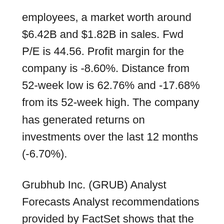employees, a market worth around $6.42B and $1.82B in sales. Fwd P/E is 44.56. Profit margin for the company is -8.60%. Distance from 52-week low is 62.76% and -17.68% from its 52-week high. The company has generated returns on investments over the last 12 months (-6.70%).
Grubhub Inc. (GRUB) Analyst Forecasts Analyst recommendations provided by FactSet shows that the consensus forecast for Grubhub Inc. (GRUB) is a “Hold”. 10 analysts offering their recommendations for the stock have an average rating of 3.10, where 9 rate it as a Hold and 0 think it is a “Overweight”. 0 of the analysts rate